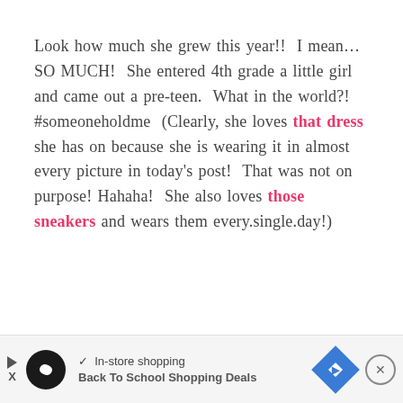Look how much she grew this year!!  I mean… SO MUCH!  She entered 4th grade a little girl and came out a pre-teen.  What in the world?!  #someoneholdme  (Clearly, she loves that dress she has on because she is wearing it in almost every picture in today's post!  That was not on purpose! Hahaha!  She also loves those sneakers and wears them every.single.day!)
[Figure (other): Advertisement bar at bottom: play button, circular logo with infinity-like symbol, checkmark 'In-store shopping' text, navigation diamond icon, close button with X]